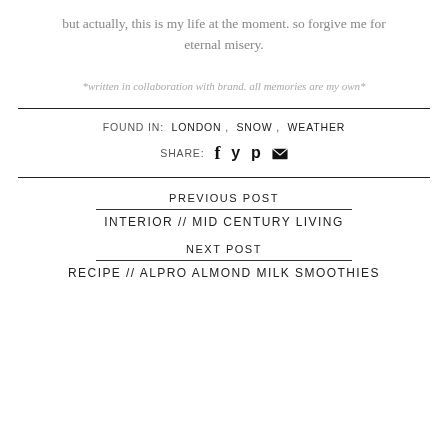but actually, this is my life at the moment. so forgive me for eternal misery.
*written in collaboration with brand. all memories are my own*
FOUND IN:  LONDON ,  SNOW ,  WEATHER
SHARE:  f  y  p  [envelope]
PREVIOUS POST
INTERIOR // MID CENTURY LIVING
NEXT POST
RECIPE // ALPRO ALMOND MILK SMOOTHIES